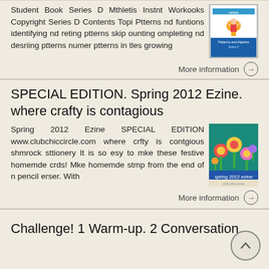Student Book Series D Mthletis Instnt Workooks Copyright Series D Contents Topi Ptterns nd funtions identifying nd reting ptterns skip ounting ompleting nd desriing ptterns numer ptterns in tles growing
[Figure (illustration): Book cover thumbnail showing a cartoon child with arms raised above their head, blue background at the bottom, white/cream top]
More information →
SPECIAL EDITION. Spring 2012 Ezine. where crafty is contagious
Spring 2012 Ezine SPECIAL EDITION www.clubchiccircle.com where crfty is contgious shmrock sttionery It is so esy to mke these festive homemde crds! Mke homemde stmp from the end of n pencil erser. With
[Figure (illustration): Colorful Spring 2012 Ezine cover with flowers and text 'spring 2012 ezine' on a teal/dark background]
More information →
Challenge! 1 Warm-up. 2 Conversation.